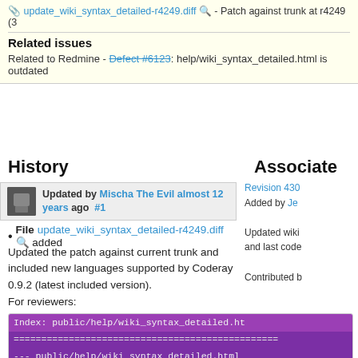update_wiki_syntax_detailed-r4249.diff 🔍 - Patch against trunk at r4249 (3…
Related issues
Related to Redmine - Defect #6123: help/wiki_syntax_detailed.html is outdated
History
Associate
Updated by Mischa The Evil almost 12 years ago #1
Revision 430
Added by Je…
Updated wiki… and last code…
Contributed b…
File update_wiki_syntax_detailed-r4249.diff 🔍 added
Updated the patch against current trunk and included new languages supported by Coderay 0.9.2 (latest included version).
For reviewers:
[Figure (screenshot): Diff code block showing changes to public/help/wiki_syntax_detailed.html with colored diff lines including index header, file headers, hunk header, context lines, removed line with highlight, added line with highlight, and more context]